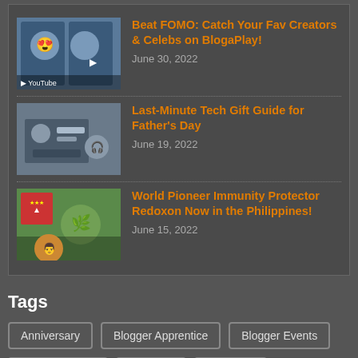Beat FOMO: Catch Your Fav Creators & Celebs on BlogaPlay!
June 30, 2022
Last-Minute Tech Gift Guide for Father's Day
June 19, 2022
World Pioneer Immunity Protector Redoxon Now in the Philippines!
June 15, 2022
Tags
Anniversary
Blogger Apprentice
Blogger Events
Blogger Manila
Bloggers
BLogging
Blogging 101
Blogging Seminar
BPI
Chinese New Year
Chuck Taylor